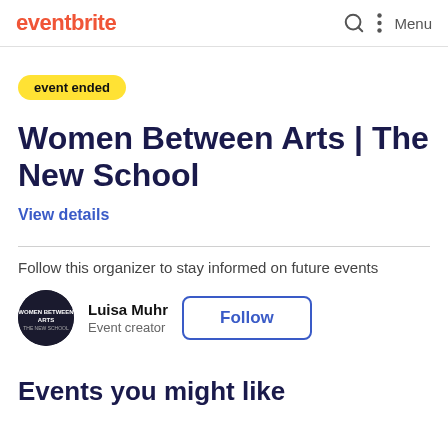eventbrite
event ended
Women Between Arts | The New School
View details
Follow this organizer to stay informed on future events
Luisa Muhr
Event creator
Follow
Events you might like